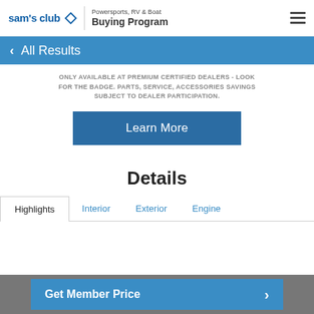[Figure (logo): Sam's Club logo with diamond shape and 'Powersports, RV & Boat Buying Program' text]
< All Results
ONLY AVAILABLE AT PREMIUM CERTIFIED DEALERS - LOOK FOR THE BADGE. PARTS, SERVICE, ACCESSORIES SAVINGS SUBJECT TO DEALER PARTICIPATION.
Learn More
Details
Highlights  Interior  Exterior  Engine
Get Member Price >